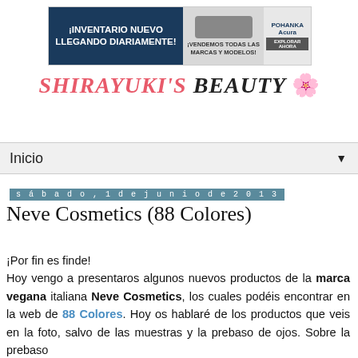[Figure (other): Advertisement banner for Pohanka Acura showing car inventory promotion with text '¡INVENTARIO NUEVO LLEGANDO DIARIAMENTE!' and '¡VENDEMOS TODAS LAS MARCAS Y MODELOS!']
SHIRAYUKI'S BEAUTY
Inicio
sábado, 1 de junio de 2013
Neve Cosmetics (88 Colores)
¡Por fin es finde!
Hoy vengo a presentaros algunos nuevos productos de la marca vegana italiana Neve Cosmetics, los cuales podéis encontrar en la web de 88 Colores. Hoy os hablaré de los productos que veis en la foto, salvo de las muestras y la prebaso de ojos. Sobre la prebaso